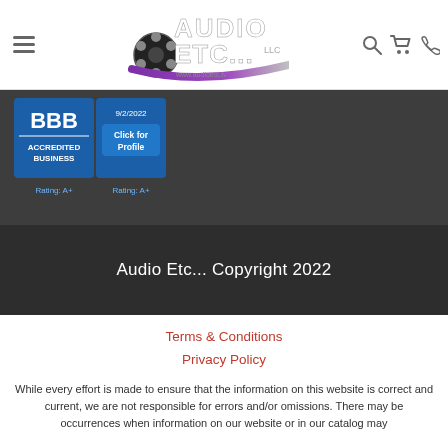[Figure (logo): Audio Etc... LLC logo with film reel, text and swoosh. Navigation bar with hamburger menu, search, cart, and phone icons.]
[Figure (logo): BBB Accredited Business badge with 9/2/2022 date and Click for Profile button, Rating: A+]
Audio Etc... Copyright 2022
Terms & Conditions
Privacy Policy
While every effort is made to ensure that the information on this website is correct and current, we are not responsible for errors and/or omissions. There may be occurrences when information on our website or in our catalog may